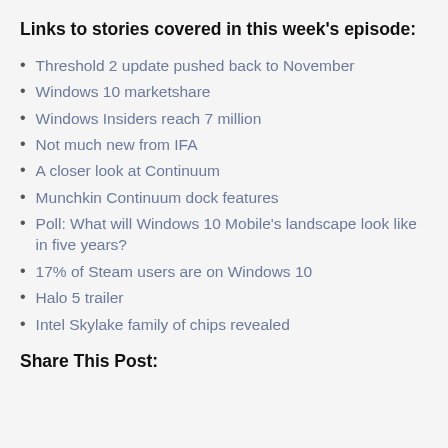Links to stories covered in this week's episode:
Threshold 2 update pushed back to November
Windows 10 marketshare
Windows Insiders reach 7 million
Not much new from IFA
A closer look at Continuum
Munchkin Continuum dock features
Poll: What will Windows 10 Mobile's landscape look like in five years?
17% of Steam users are on Windows 10
Halo 5 trailer
Intel Skylake family of chips revealed
Share This Post: